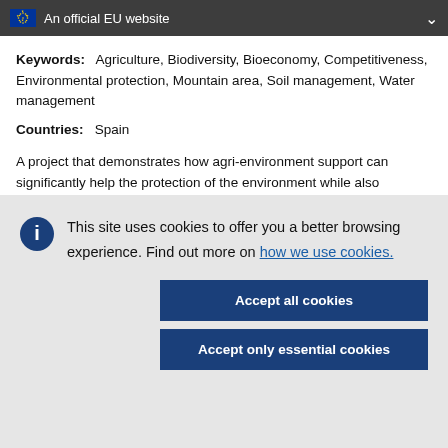An official EU website
Keywords: Agriculture, Biodiversity, Bioeconomy, Competitiveness, Environmental protection, Mountain area, Soil management, Water management
Countries: Spain
A project that demonstrates how agri-environment support can significantly help the protection of the environment while also
This site uses cookies to offer you a better browsing experience. Find out more on how we use cookies.
Accept all cookies
Accept only essential cookies